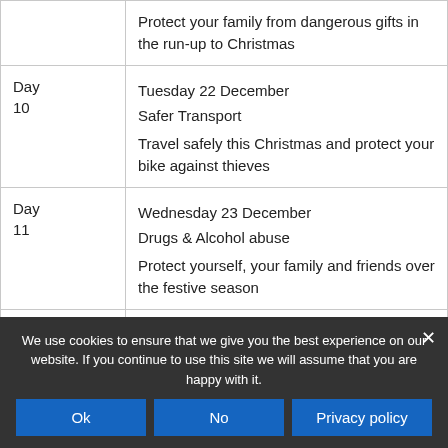| Day | Details |
| --- | --- |
|  | Protect your family from dangerous gifts in the run-up to Christmas |
| Day 10 | Tuesday 22 December
Safer Transport
Travel safely this Christmas and protect your bike against thieves |
| Day 11 | Wednesday 23 December
Drugs & Alcohol abuse
Protect yourself, your family and friends over the festive season |
| Day ... | Thursday 24 December ... |
We use cookies to ensure that we give you the best experience on our website. If you continue to use this site we will assume that you are happy with it.